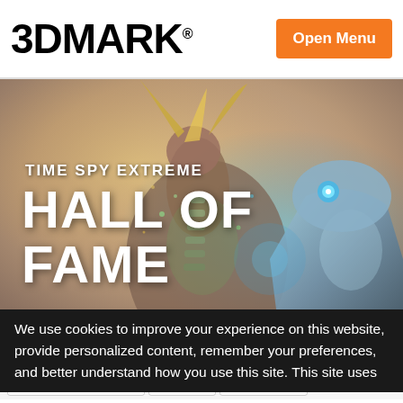3DMARK® — Open Menu
[Figure (photo): 3DMark Time Spy Extreme Hall of Fame hero image showing a fantastical creature with gold horns and glowing particles on the left, and a futuristic robot on the right, with the text 'TIME SPY EXTREME' and 'HALL OF FAME' overlaid in white.]
TIME SPY EXTREME
HALL OF FAME
Time Spy Extreme    Time Spy Extreme Graphics Score
Time Spy Graphics Score    Port Royal    Fire Strike U…
We use cookies to improve your experience on this website, provide personalized content, remember your preferences, and better understand how you use this site. This site uses